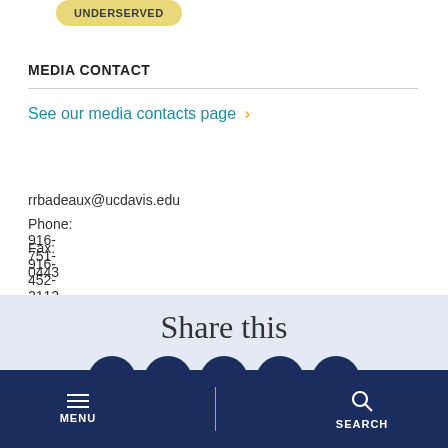[Figure (infographic): Yellow pill-shaped tag reading UNDERSERVED]
MEDIA CONTACT
See our media contacts page ›
Rebecca Badeaux
rrbadeaux@ucdavis.edu
Phone: 916-751-0443
Fax: 916-452-2112
Share this
[Figure (infographic): Social media icons: Facebook, Twitter, LinkedIn, Email, and a plus/share icon — dark navy circles]
MENU   SEARCH